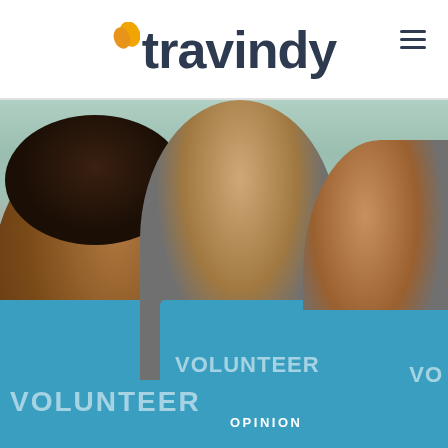[Figure (logo): Travindy logo with orange leaf icon and dark navy text]
[Figure (photo): Three people wearing teal/blue VOLUNTEER t-shirts smiling closely together, outdoor background]
OPINION